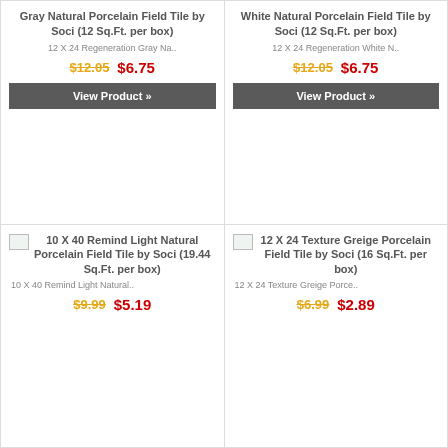Gray Natural Porcelain Field Tile by Soci (12 Sq.Ft. per box)
12 X 24 Regeneration Gray Na..
$12.05  $6.75
View Product »
White Natural Porcelain Field Tile by Soci (12 Sq.Ft. per box)
12 X 24 Regeneration White N..
$12.05  $6.75
View Product »
10 X 40 Remind Light Natural Porcelain Field Tile by Soci (19.44 Sq.Ft. per box)
10 X 40 Remind Light Natural..
$9.99  $5.19
12 X 24 Texture Greige Porcelain Field Tile by Soci (16 Sq.Ft. per box)
12 X 24 Texture Greige Porce..
$6.99  $2.89